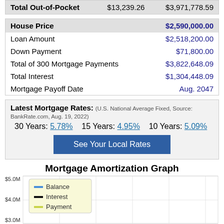|  | Col1 | Col2 |
| --- | --- | --- |
| Total Out-of-Pocket | $13,239.26 | $3,971,778.59 |
| Item | Value |
| --- | --- |
| House Price | $2,590,000.00 |
| Loan Amount | $2,518,200.00 |
| Down Payment | $71,800.00 |
| Total of 300 Mortgage Payments | $3,822,648.09 |
| Total Interest | $1,304,448.09 |
| Mortgage Payoff Date | Aug. 2047 |
Latest Mortgage Rates: (U.S. National Average Fixed, Source: BankRate.com, Aug. 19, 2022)
30 Years: 5.78%   15 Years: 4.95%   10 Years: 5.09%
See Your Local Rates
Mortgage Amortization Graph
[Figure (line-chart): Amortization graph showing Balance, Interest, and Payment over time. Y-axis: $3.0M to $5.0M visible. Legend shown.]